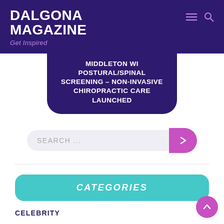DALGONA MAGAZINE
Get Inspired
MIDDLETON WI POSTURAL/SPINAL SCREENING – NON-INVASIVE CHIROPRACTIC CARE LAUNCHED
[Figure (screenshot): Search bar with pink submit button]
CATEGORIES
CELEBRITY
CLOUD PRWIRE
ENTREPRENEUR
FEATURED